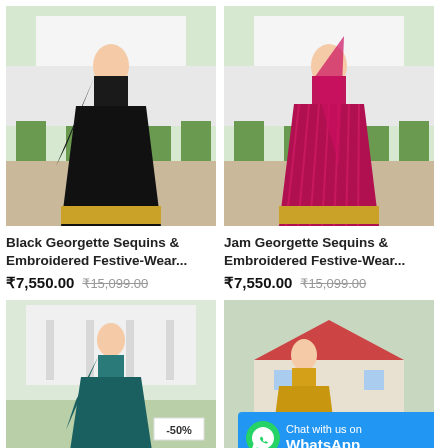[Figure (photo): Black Georgette lehenga choli worn by model outdoors]
Black Georgette Sequins & Embroidered Festive-Wear...
₹7,550.00  ₹15,099.00
[Figure (photo): Jam/magenta Georgette lehenga choli worn by model outdoors]
Jam Georgette Sequins & Embroidered Festive-Wear...
₹7,550.00  ₹15,099.00
[Figure (photo): Teal Georgette lehenga choli with -50% discount badge]
[Figure (photo): Yellow lehenga choli with -45% discount badge and WhatsApp chat banner]